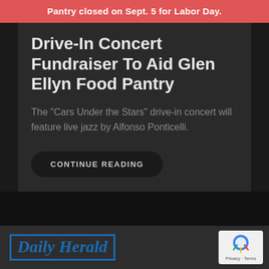Pantry closed on Sept. 5 for Labor Day.
Drive-In Concert Fundraiser To Aid Glen Ellyn Food Pantry
The "Cars Under the Stars" drive-in concert will feature live jazz by Alfonso Ponticelli.
CONTINUE READING
[Figure (logo): Daily Herald newspaper logo in blue italic serif font inside a blue border box]
[Figure (other): reCAPTCHA badge with Privacy - Terms text]